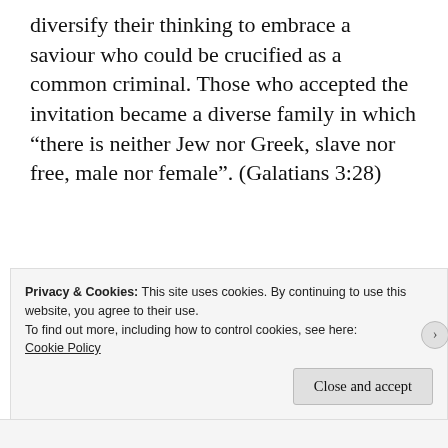diversify their thinking to embrace a saviour who could be crucified as a common criminal. Those who accepted the invitation became a diverse family in which “there is neither Jew nor Greek, slave nor free, male nor female”. (Galatians 3:28)
[Figure (screenshot): Jetpack advertisement banner with green background showing Jetpack logo and 'Back up your site' button]
Privacy & Cookies: This site uses cookies. By continuing to use this website, you agree to their use.
To find out more, including how to control cookies, see here: Cookie Policy